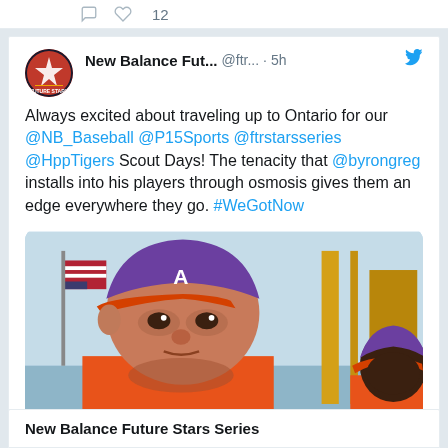[Figure (screenshot): Twitter/social media screenshot showing a tweet from New Balance Future Stars Series account with a baseball photo]
New Balance Fut... @ftr... · 5h
Always excited about traveling up to Ontario for our @NB_Baseball @P15Sports @ftrstarsseries @HppTigers Scout Days! The tenacity that @byrongreg installs into his players through osmosis gives them an edge everywhere they go. #WeGotNow
[Figure (photo): Comic/illustrated style image of baseball players in orange and purple uniforms]
TigersHPP and 8 others
30
New Balance Future Stars Series